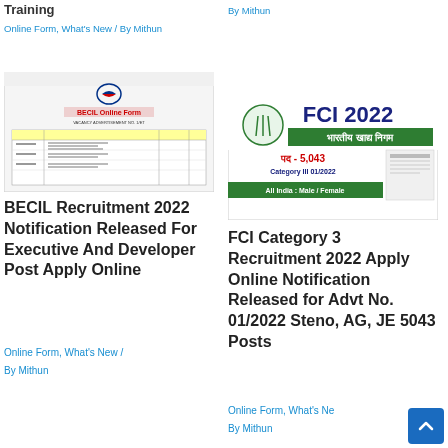Training
Online Form, What's New / By Mithun
By Mithun
[Figure (screenshot): BECIL Online Form vacancy advertisement document screenshot]
[Figure (infographic): FCI 2022 recruitment poster showing भारतीय खाद्य निगम, पद - 5,043, Category III 01/2022, All India: Male / Female]
BECIL Recruitment 2022 Notification Released For Executive And Developer Post Apply Online
Online Form, What's New / By Mithun
FCI Category 3 Recruitment 2022 Apply Online Notification Released for Advt No. 01/2022 Steno, AG, JE 5043 Posts
Online Form, What's New / By Mithun